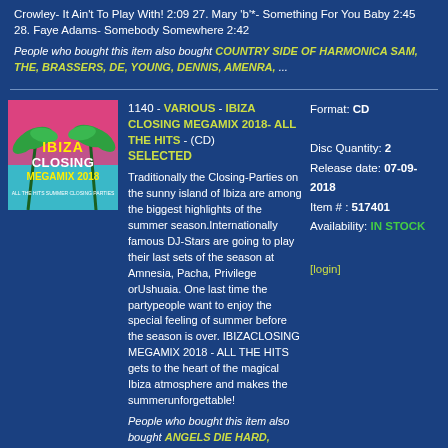Crowley- It Ain't To Play With! 2:09 27. Mary 'b'*- Something For You Baby 2:45 28. Faye Adams- Somebody Somewhere 2:42
People who bought this item also bought COUNTRY SIDE OF HARMONICA SAM, THE, BRASSERS, DE, YOUNG, DENNIS, AMENRA, ...
[Figure (other): Album cover for Ibiza Closing Megamix 2018 featuring palm trees, pink and teal colors with bold yellow and red text]
1140 - VARIOUS - IBIZA CLOSING MEGAMIX 2018- ALL THE HITS - (CD) SELECTED
Format: CD
Disc Quantity: 2
Release date: 07-09-2018
Item # : 517401
Availability: IN STOCK
[login]
Traditionally the Closing-Parties on the sunny island of Ibiza are among the biggest highlights of the summer season.Internationally famous DJ-Stars are going to play their last sets of the season at Amnesia, Pacha, Privilege orUshuaia. One last time the partypeople want to enjoy the special feeling of summer before the season is over. IBIZACLOSING MEGAMIX 2018 - ALL THE HITS gets to the heart of the magical Ibiza atmosphere and makes the summerunforgettable!
People who bought this item also bought ANGELS DIE HARD, BRAIN DAMAGE, AG KAEDY, AHMED